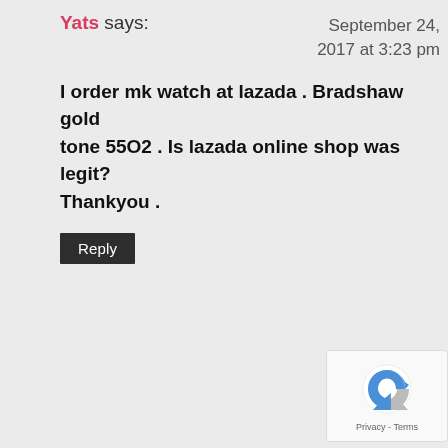Yats says:
September 24, 2017 at 3:23 pm
I order mk watch at lazada . Bradshaw gold tone 55O2 . Is lazada online shop was legit? Thankyou .
Reply
[Figure (logo): reCAPTCHA badge with blue/grey arrow icon and Privacy - Terms text]